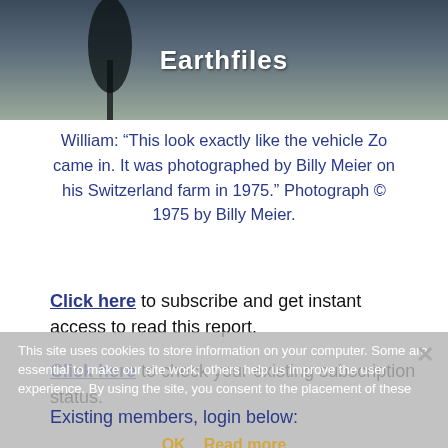[Figure (photo): Dark landscape photo banner with tree silhouette and water/sky background, with 'Earthfiles' text overlay in white]
William: “This look exactly like the vehicle Zo came in. It was photographed by Billy Meier on his Switzerland farm in 1975.” Photograph © 1975 by Billy Meier.
Click here to subscribe and get instant access to read this report.
Click here to check your existing subscription status.
This site uses cookies to store information on your computer. Some are essential to make our site work; others help us improve the user experience. By using the site, you consent to the placement of these
Existing members, login below:
OK   Read more
Username or E-mail